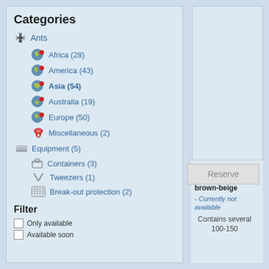Categories
Ants
Africa (28)
America (43)
Asia (54)
Australia (19)
Europe (50)
Miscellaneous (2)
Equipment (5)
Containers (3)
Tweezers (1)
Break-out protection (2)
Filter
Only available
Available soon
Colony,two colored ant, brown-beige - Currently not available Contains several 100-150